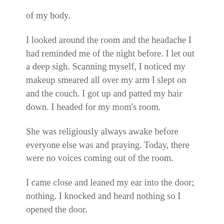of my body.
I looked around the room and the headache I had reminded me of the night before. I let out a deep sigh. Scanning myself, I noticed my makeup smeared all over my arm I slept on and the couch. I got up and patted my hair down. I headed for my mom's room.
She was religiously always awake before everyone else was and praying. Today, there were no voices coming out of the room.
I came close and leaned my ear into the door; nothing. I knocked and heard nothing so I opened the door.
The room was neat and tidy. The bed made, the tables dusted and all her stuff gone. There was a note on the table and it indicated that she was leaving to stay at a